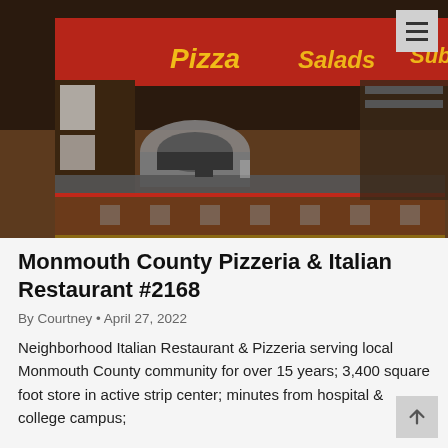[Figure (photo): Interior of a pizzeria showing a counter with pizza oven, neon signs reading 'Pizza', 'Salads', 'Subs' illuminated in red and yellow against a dark ceiling.]
Monmouth County Pizzeria & Italian Restaurant #2168
By Courtney • April 27, 2022
Neighborhood Italian Restaurant & Pizzeria serving local Monmouth County community for over 15 years; 3,400 square foot store in active strip center; minutes from hospital & college campus;